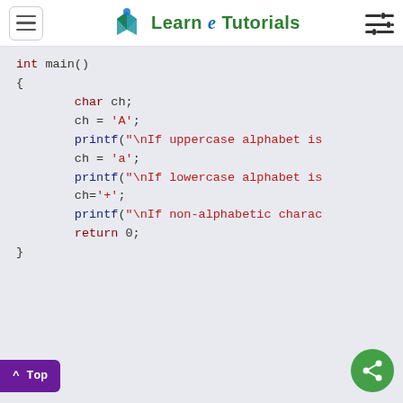Learn e Tutorials
[Figure (screenshot): C code snippet showing int main() function with char variable ch assigned 'A', 'a', and '+', with printf calls for uppercase, lowercase, and non-alphabetic character checks, ending with return 0.]